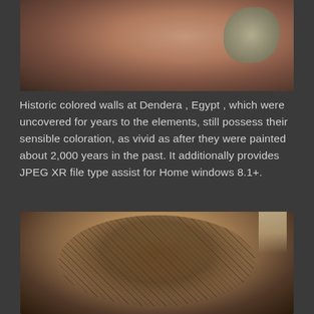[Figure (photo): Close-up photo of a tattoo on skin, partial view showing dark ink tattoo design on upper body]
Historic colored walls at Dendera , Egypt , which were uncovered for years to the elements, still possess their sensible coloration, as vivid as after they were painted about 2,000 years in the past. It additionally provides JPEG XR file type assist for Home windows 8.1+.
[Figure (photo): Large detailed tattoo on a person's shoulder/upper arm showing an elaborate dark ink design with figures, creatures, and decorative elements]